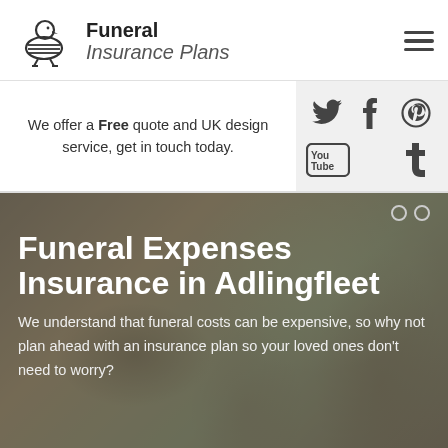[Figure (logo): Funeral Insurance Plans logo with stylized bird/pelican icon and company name]
We offer a Free quote and UK design service, get in touch today.
[Figure (infographic): Social media icons: Twitter, Facebook, Pinterest, YouTube, Tumblr on grey background]
[Figure (photo): Outdoor photo of people in a park/garden setting, used as hero background image]
Funeral Expenses Insurance in Adlingfleet
We understand that funeral costs can be expensive, so why not plan ahead with an insurance plan so your loved ones don't need to worry?